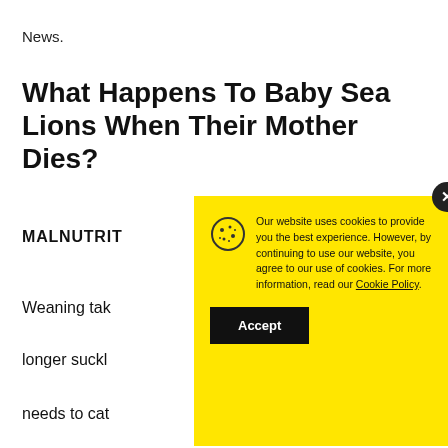News.
What Happens To Baby Sea Lions When Their Mother Dies?
MALNUTRIT…
Weaning tak…
longer suckl…
needs to cat…
[Figure (other): Cookie consent popup with yellow background. Text reads: 'Our website uses cookies to provide you the best experience. However, by continuing to use our website, you agree to our use of cookies. For more information, read our Cookie Policy.' with an Accept button and close (x) button. Cookie icon on left.]